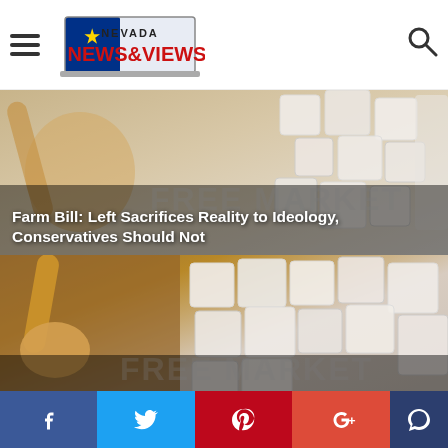Nevada NEWS&VIEWS
[Figure (screenshot): Nevada News & Views website header with hamburger menu, Nevada News & Views logo with state flag graphic, and search icon]
[Figure (photo): Background image of sugar cubes with article headline overlay: Farm Bill: Left Sacrifices Reality to Ideology, Conservatives Should Not]
Farm Bill: Left Sacrifices Reality to Ideology, Conservatives Should Not
[Figure (photo): Background image of wooden scoop with sugar cubes with article headline overlay: Shift to Made-in-America Manufacturing Gains Steam]
Shift to Made-in-America Manufacturing Gains Steam
[Figure (screenshot): Background showing Nevada flag on left and Nevada News & Views logo in red and blue on right, with article headline overlay: Rising Costs Hammering Local Small Businesses]
Rising Costs Hammering Local Small Businesses
[Figure (infographic): Social media share bar with Facebook (blue), Twitter (light blue), Pinterest (red), Google+ (red-orange), and comment (dark blue) buttons]